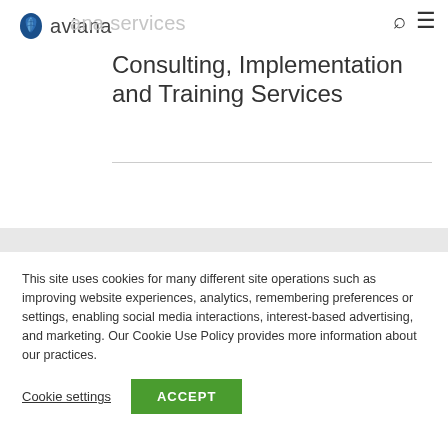aviana
Consulting, Implementation and Training Services
This site uses cookies for many different site operations such as improving website experiences, analytics, remembering preferences or settings, enabling social media interactions, interest-based advertising, and marketing. Our Cookie Use Policy provides more information about our practices.
Cookie settings   ACCEPT